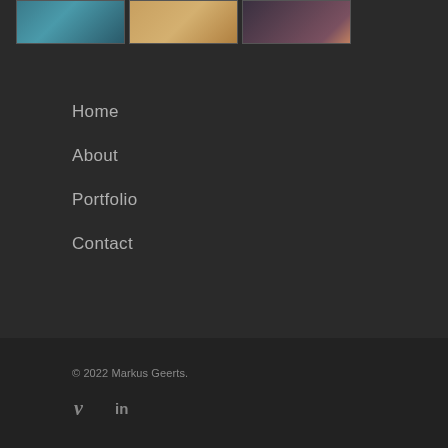[Figure (photo): Three thumbnail images in a row at the top: first shows a teal/blue underwater or sky scene, second shows a warm golden/desert scene, third shows a dark dramatic scene with human figures.]
Home
About
Portfolio
Contact
© 2022 Markus Geerts.
[Figure (logo): Vimeo 'V' icon and LinkedIn 'in' icon in gray]